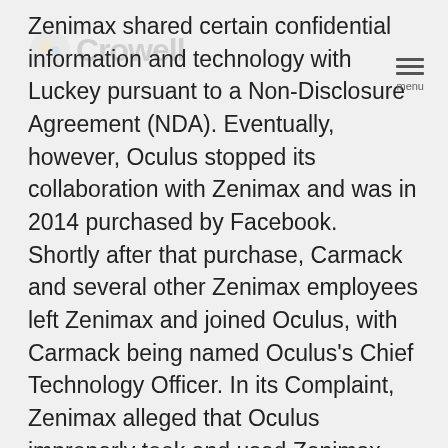Zenimax shared certain confidential information and technology with Luckey pursuant to a Non-Disclosure Agreement (NDA). Eventually, however, Oculus stopped its collaboration with Zenimax and was in 2014 purchased by Facebook.  Shortly after that purchase, Carmack and several other Zenimax employees left Zenimax and joined Oculus, with Carmack being named Oculus's Chief Technology Officer. In its Complaint, Zenimax alleged that Oculus improperly took and used Zenimax proprietary and confidential information, including the improvements and code that Zenimax had contributed to Oculus Rift during their prior collaboration. Zenimax sought over $4 billion in damages for misappropriation of trade secrets, copyright and trademark infringement, and breach of the non-disclosure agreement.